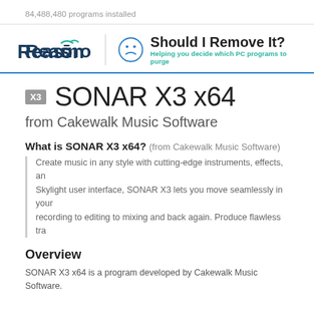84,488,480 programs installed
[Figure (logo): Reason logo and Should I Remove It? logo with tagline: Helping you decide which PC programs to purge]
SONAR X3 x64
from Cakewalk Music Software
What is SONAR X3 x64? (from Cakewalk Music Software)
Create music in any style with cutting-edge instruments, effects, an... Skylight user interface, SONAR X3 lets you move seamlessly in your... recording to editing to mixing and back again. Produce flawless tra...
Overview
SONAR X3 x64 is a program developed by Cakewalk Music Software.